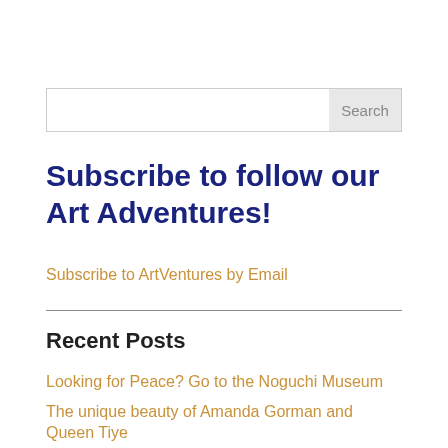Search
Subscribe to follow our Art Adventures!
Subscribe to ArtVentures by Email
Recent Posts
Looking for Peace? Go to the Noguchi Museum
The unique beauty of Amanda Gorman and Queen Tiye